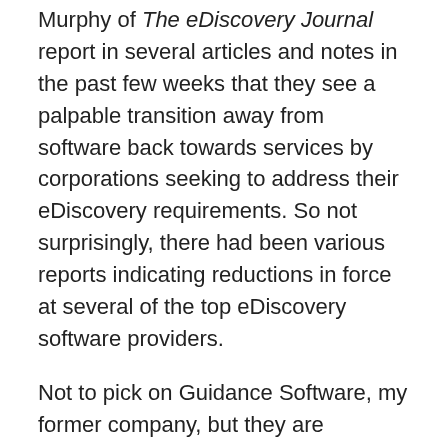Murphy of The eDiscovery Journal report in several articles and notes in the past few weeks that they see a palpable transition away from software back towards services by corporations seeking to address their eDiscovery requirements. So not surprisingly, there had been various reports indicating reductions in force at several of the top eDiscovery software providers.
Not to pick on Guidance Software, my former company, but they are publically traded and recently disclosed their aggressive cost-cutting measures. In their PowerPoint presentation, Guidance states that the eDiscovery software field “is maturing…not as many large deals available there” resulting in a strategy for the company to refocus on core computer forensics and computer security, and to pivot toward profitability over topline revenue growth. And I don’t think what Guidance is experiencing is